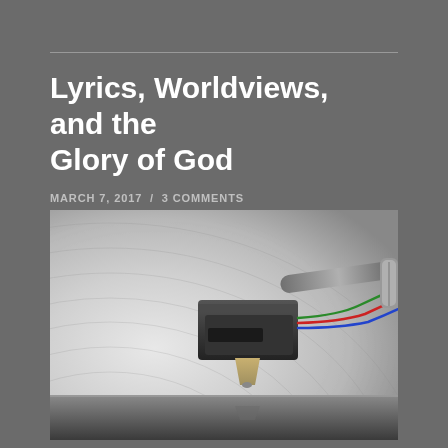Lyrics, Worldviews, and the Glory of God
MARCH 7, 2017  /  3 COMMENTS
[Figure (photo): Close-up photograph of a vinyl record turntable stylus/cartridge resting on a spinning record, showing the tonearm head with coloured wires (green, red, blue) against a blurred white vinyl record background.]